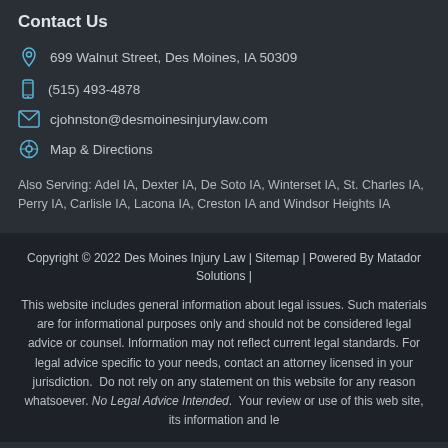Contact Us
699 Walnut Street, Des Moines, IA 50309
(515) 493-4878
cjohnston@desmoinesinjurylaw.com
Map & Directions
Also Serving: Adel IA, Dexter IA, De Soto IA, Winterset IA, St. Charles IA, Perry IA, Carlisle IA, Lacona IA, Creston IA and Windsor Heights IA
Copyright © 2022 Des Moines Injury Law | Sitemap | Powered By Matador Solutions |
This website includes general information about legal issues. Such materials are for informational purposes only and should not be considered legal advice or counsel. Information may not reflect current legal standards. For legal advice specific to your needs, contact an attorney licensed in your jurisdiction.  Do not rely on any statement on this website for any reason whatsoever. No Legal Advice Intended.  Your review or use of this web site, its information and le